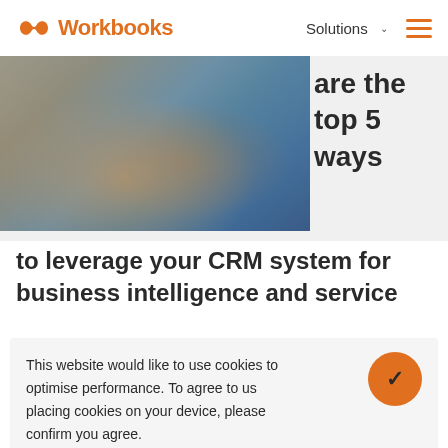Workbooks | Solutions
[Figure (photo): Close-up photo of hands typing on a laptop keyboard, with a blurred background. Partially cropped.]
are the top 5 ways to leverage your CRM system for business intelligence and service
This website would like to use cookies to optimise performance. To agree to us placing cookies on your device, please confirm you agree.
Change Settings